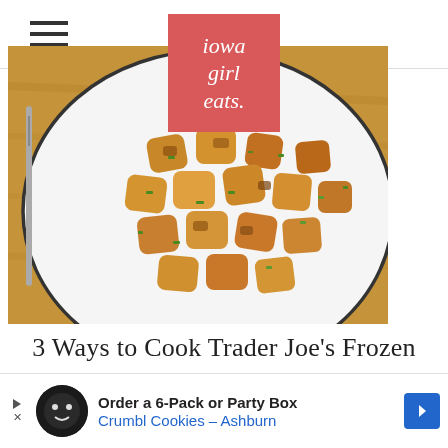[Figure (logo): Iowa Girl Eats logo — salmon/coral colored rectangle with white italic serif text reading 'iowa girl eats.']
[Figure (photo): Overhead photo of pan-fried cauliflower gnocchi on a white plate with black rim, garnished with chopped chives, placed on a wooden cutting board with a fork visible on the left side.]
3 Ways to Cook Trader Joe's Frozen Cauliflower Gnocchi (No Thawing
[Figure (other): Advertisement banner: Order a 6-Pack or Party Box — Crumbl Cookies – Ashburn]